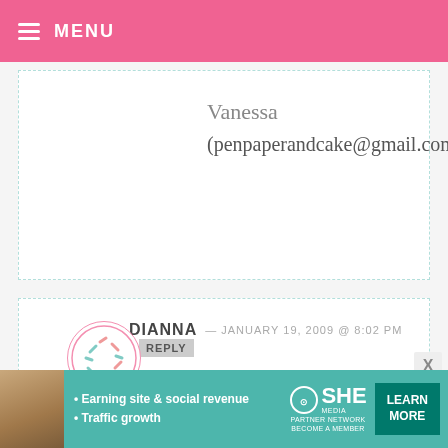MENU
Vanessa
(penpaperandcake@gmail.com)
DIANNA — JANUARY 19, 2009 @ 8:02 PM REPLY
I pick A – I hope.
RENEE — JANUARY 19, 2009 @ 8:02 PM REPLY
I think H, those are so cute!
[Figure (infographic): SHE Partner Network advertisement banner with photo, bullet points, logo and Learn More button]